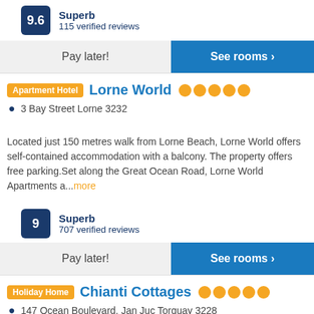9.6 Superb
115 verified reviews
Pay later! | See rooms ›
Apartment Hotel Lorne World ●●●●●
3 Bay Street Lorne 3232
Located just 150 metres walk from Lorne Beach, Lorne World offers self-contained accommodation with a balcony. The property offers free parking.Set along the Great Ocean Road, Lorne World Apartments a...more
9 Superb
707 verified reviews
Pay later! | See rooms ›
Holiday Home Chianti Cottages ●●●●●
147 Ocean Boulevard, Jan Juc Torquay 3228
Situated just a 10-minute walk from Jan Juc Beach,